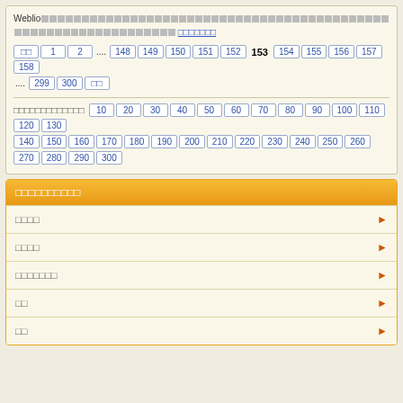Weblio□□□□□□□□□□□□□□□□□□□□□□□□□□□□□□□□□□□□□□□□□□□□□□□□□□□□
□□ 1 2 .... 148 149 150 151 152 153 154 155 156 157 158 .... 299 300 □□
□□□□□□□□□□□□□ 10 20 30 40 50 60 70 80 90 100 110 120 130 140 150 160 170 180 190 200 210 220 230 240 250 260 270 280 290 300
□□□□□□□□□□
□□□□
□□□□
□□□□□□□
□□
□□